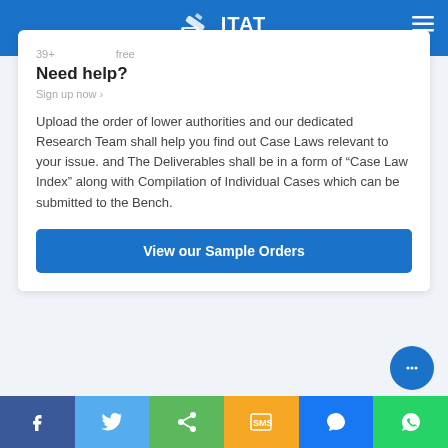ITAT ORDERS
Need help?
Upload the order of lower authorities and our dedicated Research Team shall help you find out Case Laws relevant to your issue. and The Deliverables shall be in a form of “Case Law Index” along with Compilation of Individual Cases which can be submitted to the Bench.
View our Sample Orders